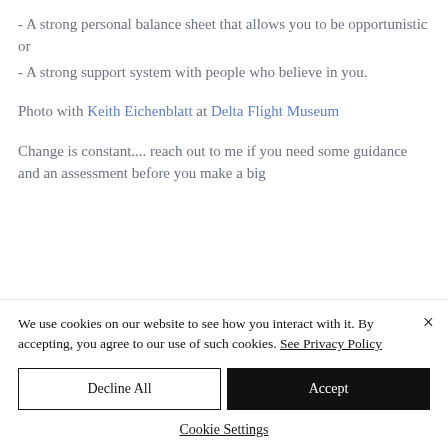- A strong personal balance sheet that allows you to be opportunistic or
- A strong support system with people who believe in you.
Photo with Keith Eichenblatt at Delta Flight Museum
Change is constant.... reach out to me if you need some guidance and an assessment before you make a big
We use cookies on our website to see how you interact with it. By accepting, you agree to our use of such cookies. See Privacy Policy
Decline All
Accept
Cookie Settings